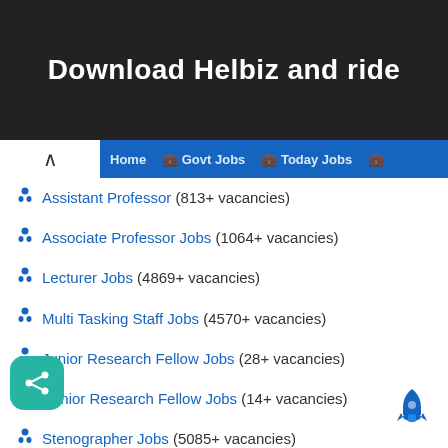[Figure (photo): Banner image with dark/blurred background showing a scooter handlebar, with bold white text 'Download Helbiz and ride']
Assistant Professor (813+ vacancies)
Associate Professor Jobs (1064+ vacancies)
Lecturer Jobs (4869+ vacancies)
Multi Tasking Staff Jobs (4570+ vacancies)
Junior Research Fellow Jobs (28+ vacancies)
Senior Research Fellow Jobs (14+ vacancies)
Stenographer Jobs (5085+ vacancies)
Accounts Assistant Jobs (45+ vacancies)
Draughtsman Jobs (44+ vacancies)